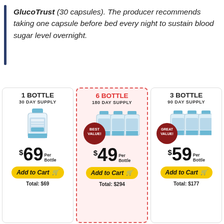GlucoTrust (30 capsules). The producer recommends taking one capsule before bed every night to sustain blood sugar level overnight.
[Figure (infographic): Three pricing cards for GlucoTrust supplement: 1 Bottle 30 Day Supply $69/bottle Add to Cart Total: $69; 6 Bottle 180 Day Supply $49/bottle Add to Cart Total: $294 (featured Best Value); 3 Bottle 90 Day Supply $59/bottle Add to Cart Total: $177 (Great Value)]